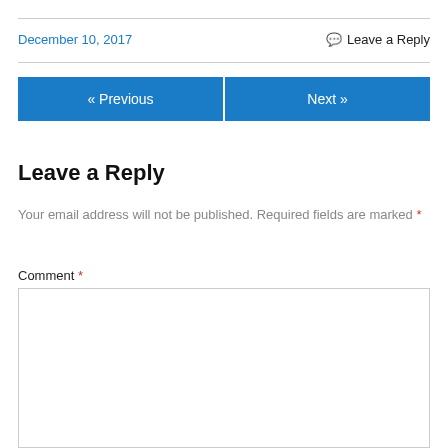December 10, 2017
Leave a Reply
« Previous
Next »
Leave a Reply
Your email address will not be published. Required fields are marked *
Comment *